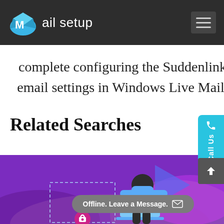Mail setup
complete configuring the Suddenlink email settings in Windows Live Mail.
Related Searches
[Figure (illustration): Illustration of a person sitting with a laptop on a purple background with abstract wave shapes, a dashed rectangle, a lock icon, and an 'Offline. Leave a Message.' chat button.]